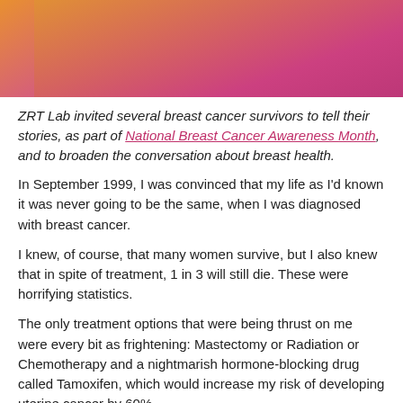[Figure (photo): A person wearing a pink/magenta top, partial view showing torso and arms, warm outdoor lighting with orange tones in background]
ZRT Lab invited several breast cancer survivors to tell their stories, as part of National Breast Cancer Awareness Month, and to broaden the conversation about breast health.
In September 1999, I was convinced that my life as I'd known it was never going to be the same, when I was diagnosed with breast cancer.
I knew, of course, that many women survive, but I also knew that in spite of treatment, 1 in 3 will still die. These were horrifying statistics.
The only treatment options that were being thrust on me were every bit as frightening: Mastectomy or Radiation or Chemotherapy and a nightmarish hormone-blocking drug called Tamoxifen, which would increase my risk of developing uterine cancer by 60%.